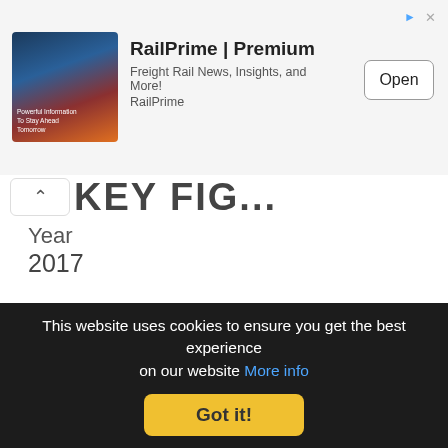[Figure (screenshot): RailPrime Premium Content advertisement banner with app icon, text 'Freight Rail News, Insights, and More! RailPrime', and an Open button]
KEY FIGURES (partially visible)
Year
2017
Assets
£345.66k ▼ £-66.83k (-16.20 %)
Cash
£138.29k ▼ £-133.25k (-49.07 %)
Liabilities (partially visible)
This website uses cookies to ensure you get the best experience on our website More info Got it!